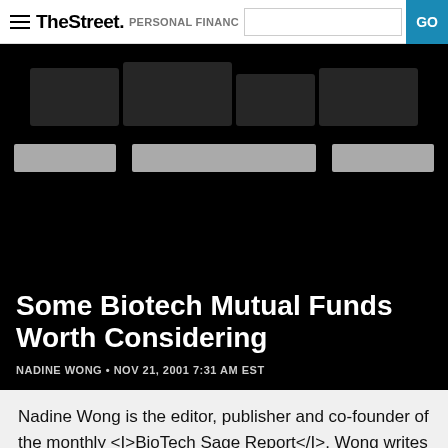TheStreet PERSONAL FINANCE GO
[Figure (photo): Dark hero image with blurred/obscured text and gray navigation bar elements on black background]
Some Biotech Mutual Funds Worth Considering
NADINE WONG • NOV 21, 2001 7:31 AM EST
Nadine Wong is the editor, publisher and co-founder of the monthly <I>BioTech Sage Report</I>. Wong writes a weekly column that appears on this page as part of her business relationship with <I>TheStreet.com</I>.